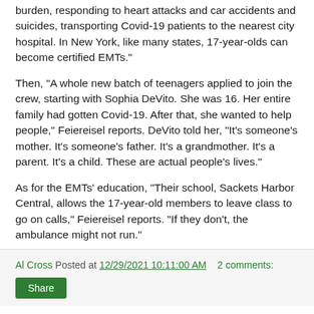burden, responding to heart attacks and car accidents and suicides, transporting Covid-19 patients to the nearest city hospital. In New York, like many states, 17-year-olds can become certified EMTs."
Then, "A whole new batch of teenagers applied to join the crew, starting with Sophia DeVito. She was 16. Her entire family had gotten Covid-19. After that, she wanted to help people," Feiereisel reports. DeVito told her, "It's someone's mother. It's someone's father. It's a grandmother. It's a parent. It's a child. These are actual people's lives."
As for the EMTs' education, "Their school, Sackets Harbor Central, allows the 17-year-old members to leave class to go on calls," Feiereisel reports. "If they don't, the ambulance might not run."
Al Cross Posted at 12/29/2021 10:11:00 AM    2 comments:
Share